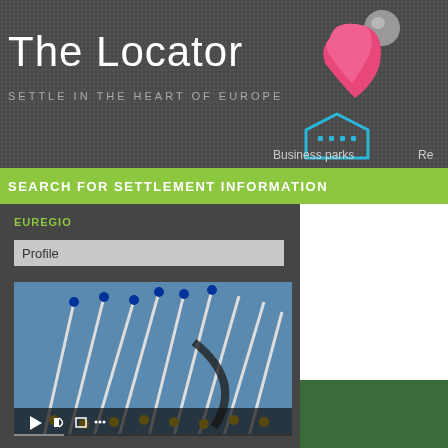The Locator
SETTLE IN THE HEART OF EUROPE
[Figure (logo): Pink and grey 3D location pin logo]
[Figure (illustration): Blue pentagon/building icon for Business parks navigation]
Business parks
Re
SEARCH FOR SETTLEMENT INFORMATION
EUREGIO
Profile
[Figure (photo): Video thumbnail showing European Union flags on tall poles against a blue sky, with video playback controls at the bottom]